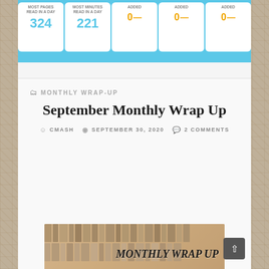[Figure (screenshot): Reading statistics bar showing stat cards: MOST PAGES READ IN A DAY: 324, MOST MINUTES READ IN A DAY: 221, and three ADDED: 0 cards with yellow dashes, all on blue background]
MONTHLY WRAP-UP
September Monthly Wrap Up
CMASH  SEPTEMBER 30, 2020  2 COMMENTS
[Figure (photo): Photo of a stack of books with a white tea cup on top, a library bookshelf in the background, with overlaid text reading MONTHLY WRAP UP in bold italic]